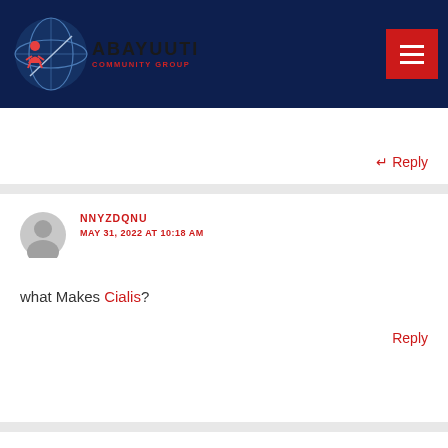Abayuuti Community Group
↵ Reply
NNYZDQNU
MAY 31, 2022 AT 10:18 AM

what Makes Cialis?

Reply
IZWWNSXK
JUNE 1, 2022 AT 7:13 AM